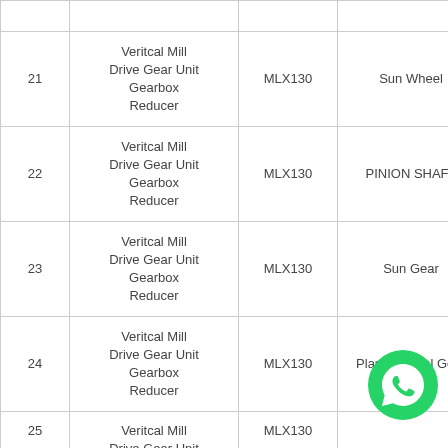| 21 | Veritcal Mill Drive Gear Unit Gearbox Reducer | MLX130 | Sun Wheel |
| 22 | Veritcal Mill Drive Gear Unit Gearbox Reducer | MLX130 | PINION SHAFT |
| 23 | Veritcal Mill Drive Gear Unit Gearbox Reducer | MLX130 | Sun Gear |
| 24 | Veritcal Mill Drive Gear Unit Gearbox Reducer | MLX130 | Planet Wheel Gear |
| 25 | Veritcal Mill Drive Gear Unit ... | MLX130 | ... |